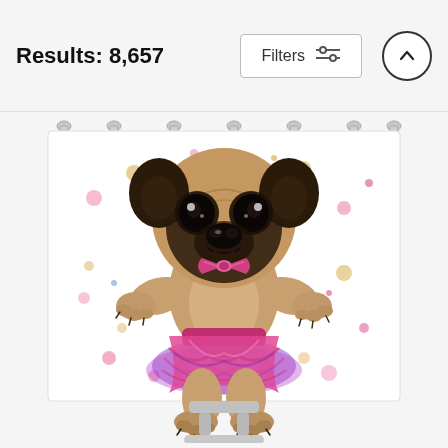Results: 8,657
[Figure (screenshot): UI filter button with sliders icon labeled 'Filters']
[Figure (illustration): A shower curtain product featuring a watercolor illustration of a cute pug dog wearing a pink bow tie and pink tutu ballet skirt, standing upright on its hind legs with arms outstretched, on a white background with colorful watercolor splatter dots. The curtain is shown hanging from hooks at top with a white stand/base at the bottom.]